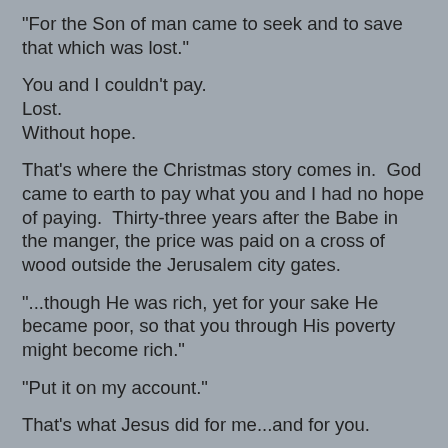"For the Son of man came to seek and to save that which was lost."
You and I couldn't pay.
Lost.
Without hope.
That's where the Christmas story comes in.  God came to earth to pay what you and I had no hope of paying.  Thirty-three years after the Babe in the manger, the price was paid on a cross of wood outside the Jerusalem city gates.
"...though He was rich, yet for your sake He became poor, so that you through His poverty might become rich."
"Put it on my account."
That's what Jesus did for me...and for you.
But what if the lady had said, "Thanks, but no thanks!  I can handle this on my own."
Or, they said, Who would do that, sacrifice for if? No...